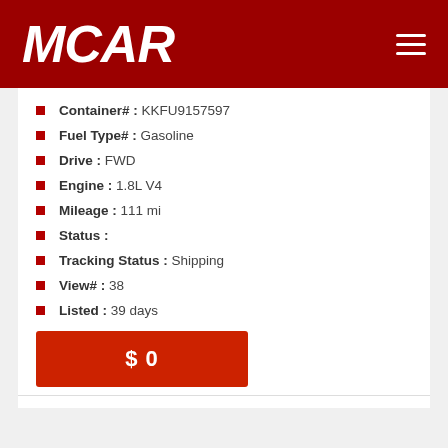MCAR
Container# : KKFU9157597
Fuel Type# : Gasoline
Drive : FWD
Engine : 1.8L V4
Mileage : 111 mi
Status :
Tracking Status : Shipping
View# : 38
Listed : 39 days
$ 0